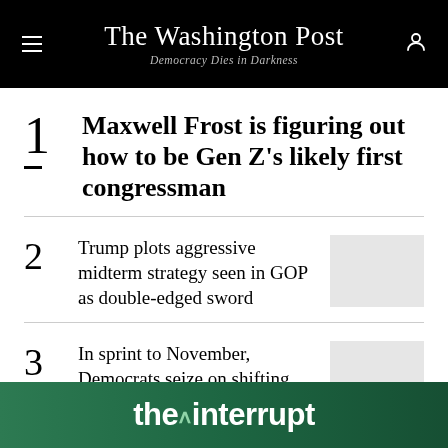The Washington Post — Democracy Dies in Darkness
Maxwell Frost is figuring out how to be Gen Z's likely first congressman
Trump plots aggressive midterm strategy seen in GOP as double-edged sword
In sprint to November, Democrats seize on shifting landscape over abortion
[Figure (other): the interrupt advertisement banner in green]
1 Maxwell Frost is figuring out how to be Gen Z's likely first congressman
2 Trump plots aggressive midterm strategy seen in GOP as double-edged sword
3 In sprint to November, Democrats seize on shifting landscape over abortion